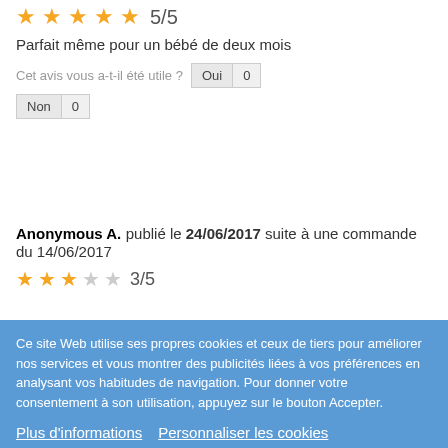5/5
Parfait même pour un bébé de deux mois
Cet avis vous a-t-il été utile ?
Oui 0
Non 0
Anonymous A. publié le 24/06/2017 suite à une commande du 14/06/2017
3/5
Ce site Web utilise ses propres cookies et ceux de tiers pour améliorer nos services et vous montrer des publicités liées à vos préférences en analysant vos habitudes de navigation. Pour donner votre consentement à son utilisation, appuyez sur le bouton Accepter.
Plus d'informations
Personnaliser les cookies
REJETER TOUT
J'ACCEPTE